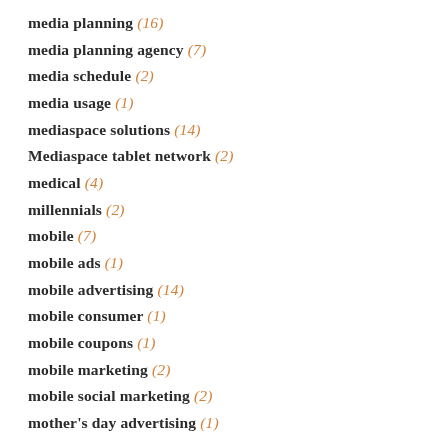media planning (16)
media planning agency (7)
media schedule (2)
media usage (1)
mediaspace solutions (14)
Mediaspace tablet network (2)
medical (4)
millennials (2)
mobile (7)
mobile ads (1)
mobile advertising (14)
mobile consumer (1)
mobile coupons (1)
mobile marketing (2)
mobile social marketing (2)
mother's day advertising (1)